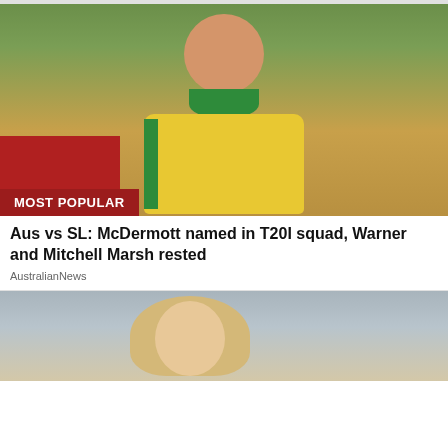[Figure (photo): Cricket player wearing yellow and green Australian T20 World Cup jersey, smiling, holding a trophy. Red background on left side of image. 'MOST POPULAR' badge in dark red at bottom left.]
Aus vs SL: McDermott named in T20I squad, Warner and Mitchell Marsh rested
AustralianNews
[Figure (photo): Blonde woman photographed from the shoulders up, partial view, against a blurred outdoor background.]